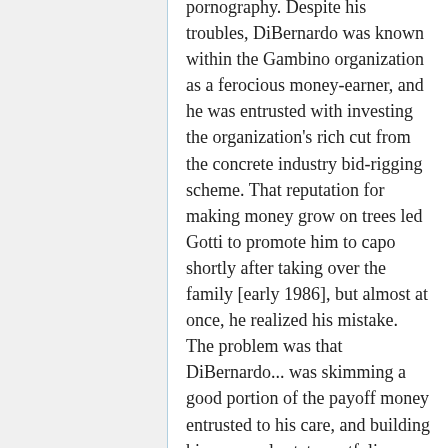pornography. Despite his troubles, DiBernardo was known within the Gambino organization as a ferocious money-earner, and he was entrusted with investing the organization's rich cut from the concrete industry bid-rigging scheme. That reputation for making money grow on trees led Gotti to promote him to capo shortly after taking over the family [early 1986], but almost at once, he realized his mistake. The problem was that DiBernardo... was skimming a good portion of the payoff money entrusted to his care, and building his own real estate portfolio, which by